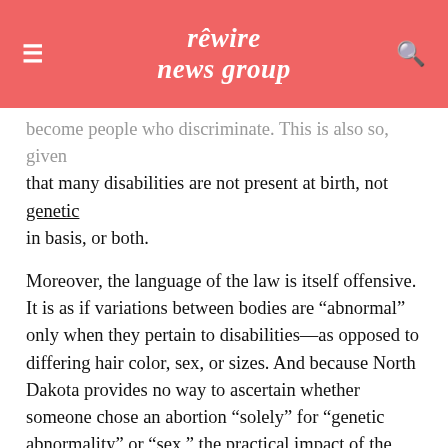rewire news group
become people who discriminate. This is also so, given that many disabilities are not present at birth, not genetic in basis, or both.
Moreover, the language of the law is itself offensive. It is as if variations between bodies are “abnormal” only when they pertain to disabilities—as opposed to differing hair color, sex, or sizes. And because North Dakota provides no way to ascertain whether someone chose an abortion “solely” for “genetic abnormality” or “sex,” the practical impact of the law is to place women, doctors, and other members of the medical community under suspicion.
Although the law is, for now, only on the books in one state, it is markedly similar to model federal legislation and abortion restrictions in United States life. Moreover...